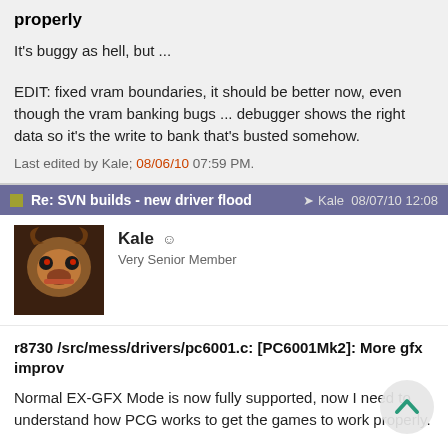properly
It's buggy as hell, but ...
EDIT: fixed vram boundaries, it should be better now, even though the vram banking bugs ... debugger shows the right data so it's the write to bank that's busted somehow.
Last edited by Kale; 08/06/10 07:59 PM.
Re: SVN builds - new driver flood
Kale · Very Senior Member
r8730 /src/mess/drivers/pc6001.c: [PC6001Mk2]: More gfx improv
Normal EX-GFX Mode is now fully supported, now I need to understand how PCG works to get the games to work properly.